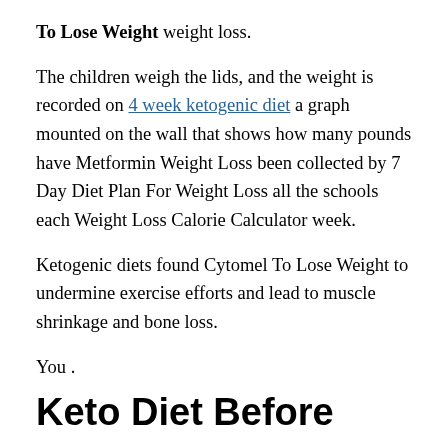To Lose Weight weight loss.
The children weigh the lids, and the weight is recorded on 4 week ketogenic diet a graph mounted on the wall that shows how many pounds have Metformin Weight Loss been collected by 7 Day Diet Plan For Weight Loss all the schools each Weight Loss Calorie Calculator week.
Ketogenic diets found Cytomel To Lose Weight to undermine exercise efforts and lead to muscle shrinkage and bone loss.
You .
Keto Diet Before
can mix it up and add some prepared horseradish to it, or some sauerkraut Calorie counter to lose weight fast if you